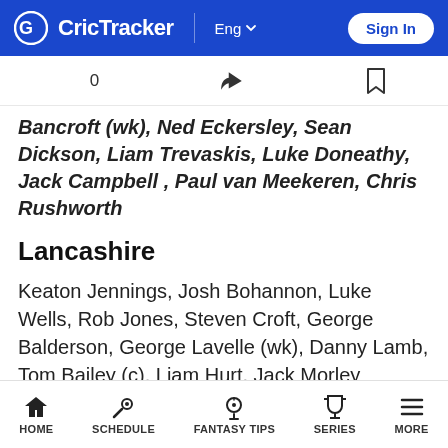CricTracker | Eng | Sign In
Bancroft (wk), Ned Eckersley, Sean Dickson, Liam Trevaskis, Luke Doneathy, Jack Campbell , Paul van Meekeren, Chris Rushworth
Lancashire
Keaton Jennings, Josh Bohannon, Luke Wells, Rob Jones, Steven Croft, George Balderson, George Lavelle (wk), Danny Lamb, Tom Bailey (c), Liam Hurt, Jack Morley
Top Picks for DUR vs LAN Dream11 Match
Top Picks - Durham
HOME | SCHEDULE | FANTASY TIPS | SERIES | MORE